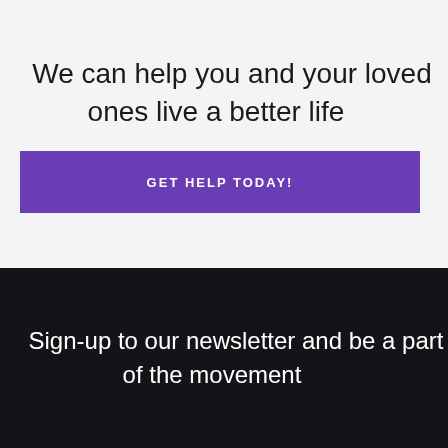We can help you and your loved ones live a better life
GET HELP TODAY!
Sign-up to our newsletter and be a part of the movement